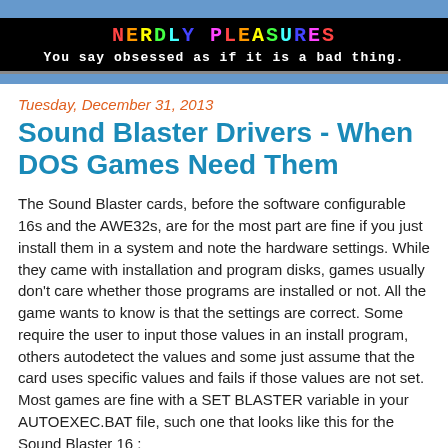NERDLY PLEASURES
You say obsessed as if it is a bad thing.
Tuesday, December 31, 2013
Sound Blaster Drivers - When DOS Games Need Them
The Sound Blaster cards, before the software configurable 16s and the AWE32s, are for the most part are fine if you just install them in a system and note the hardware settings.  While they came with installation and program disks, games usually don't care whether those programs are installed or not.  All the game wants to know is that the settings are correct.  Some require the user to input those values in an install program, others autodetect the values and some just assume that the card uses specific values and fails if those values are not set.  Most games are fine with a SET BLASTER variable in your AUTOEXEC.BAT file, such one that looks like this for the Sound Blaster 16 :